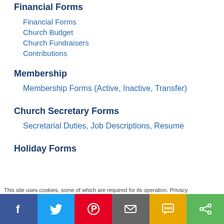Financial Forms
Financial Forms
Church Budget
Church Fundraisers
Contributions
Membership
Membership Forms (Active, Inactive, Transfer)
Church Secretary Forms
Secretarial Duties, Job Descriptions, Resume
Holiday Forms
This site uses cookies, some of which are required for its operation. Privacy
[Figure (infographic): Social sharing bar with Facebook, Twitter, Pinterest, Email, SMS, and Share buttons]